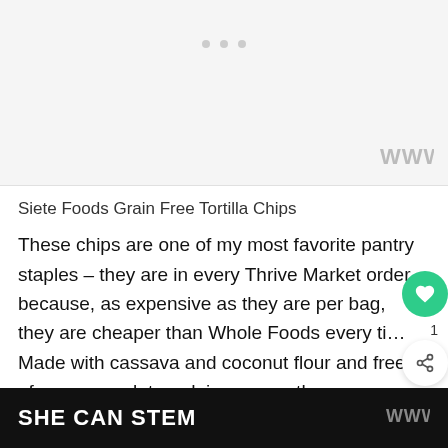[Figure (other): Advertisement placeholder area with three gray dots at top center and a Millennial logo watermark at bottom right]
Siete Foods Grain Free Tortilla Chips
These chips are one of my most favorite pantry staples – they are in every Thrive Market order because, as expensive as they are per bag, they are cheaper than Whole Foods every ti… Made with cassava and coconut flour and free of any corn, gluten, dairy, or soy, thes… go-to when I need something crunchy or want to… ather.
SHE CAN STEM